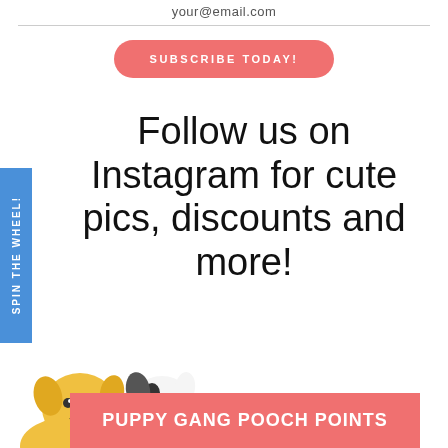your@email.com
SUBSCRIBE TODAY!
Follow us on Instagram for cute pics, discounts and more!
SPIN THE WHEEL!
[Figure (illustration): Two cartoon dogs peeking up from the bottom — a yellow/tan dog on the left and a black and white dog on the right]
PUPPY GANG POOCH POINTS